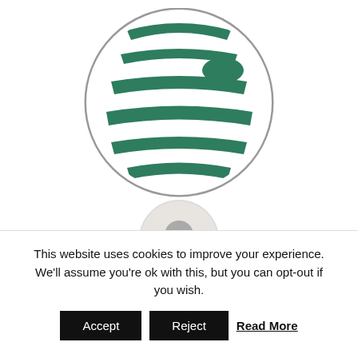[Figure (logo): Green and white horizontal striped logo inside a grey circle, resembling a stylized landscape or flag motif]
[Figure (photo): Small circular black-and-white author photo of a person holding a camera in front of their face]
Written by Jaime Novoa
This website uses cookies to improve your experience. We'll assume you're ok with this, but you can opt-out if you wish.
Accept | Reject | Read More